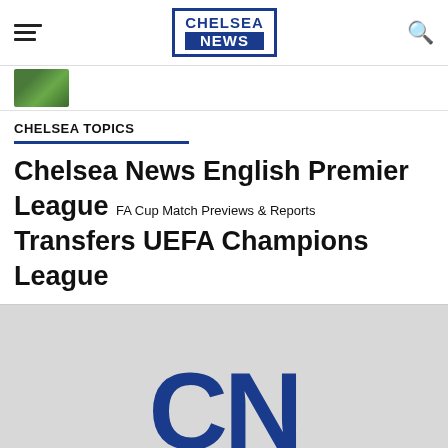Chelsea News
[Figure (photo): Small thumbnail image of a green football pitch]
CHELSEA TOPICS
Chelsea News English Premier League FA Cup Match Previews & Reports Transfers UEFA Champions League